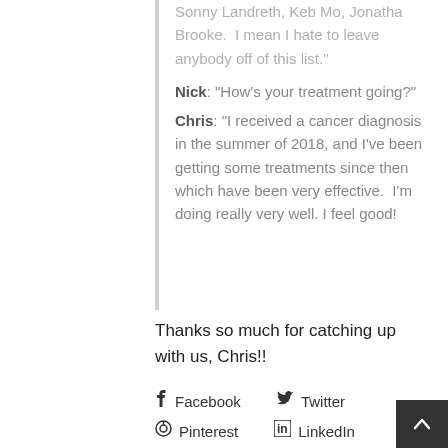Sonny Landreth, Keb Mo, Jonatha Brooke.  I mean I hate to leave anybody off of this list."
Nick: “How’s your treatment going?”
Chris: “I received a cancer diagnosis in the summer of 2018, and I’ve been getting some treatments since then which have been very effective.  I’m doing really very well. I feel good!
Thanks so much for catching up with us, Chris!!
f Facebook
🐦 Twitter
Ⓟ Pinterest
in LinkedIn
✉ E-Mail